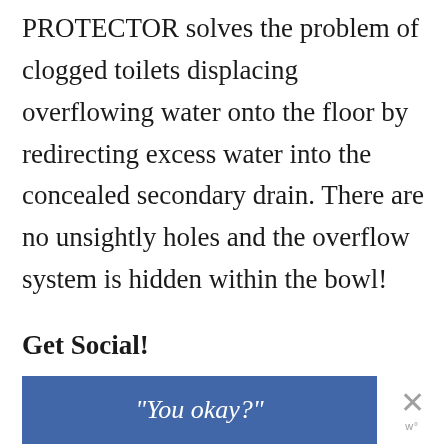PROTECTOR solves the problem of clogged toilets displacing overflowing water onto the floor by redirecting excess water into the concealed secondary drain. There are no unsightly holes and the overflow system is hidden within the bowl!
Get Social!
[Figure (screenshot): A blue Facebook-style button with the italic text "You okay?" and a close (X) button to the right with a small 'w' logo below it.]